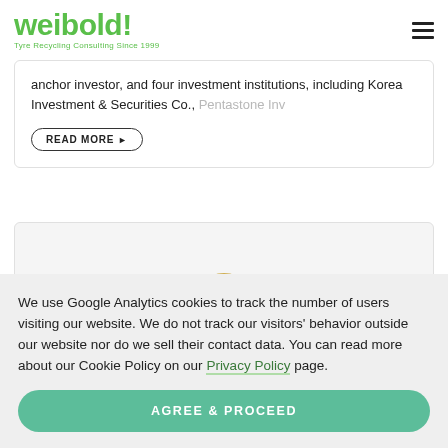weibold! Tyre Recycling Consulting Since 1999
anchor investor, and four investment institutions, including Korea Investment & Securities Co., Pentastone Inv
READ MORE ▶
[Figure (other): Partial card with gold circle element at bottom center]
We use Google Analytics cookies to track the number of users visiting our website. We do not track our visitors' behavior outside our website nor do we sell their contact data. You can read more about our Cookie Policy on our Privacy Policy page.
AGREE & PROCEED